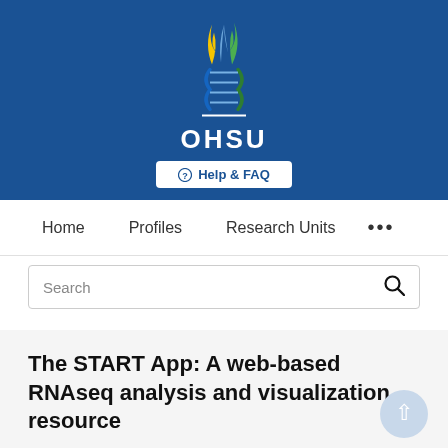[Figure (logo): OHSU (Oregon Health & Science University) logo with DNA double helix and flame design in blue, green, and yellow/gold, with white OHSU text on blue background]
Help & FAQ
Home   Profiles   Research Units   ...
Search
The START App: A web-based RNAseq analysis and visualization resource